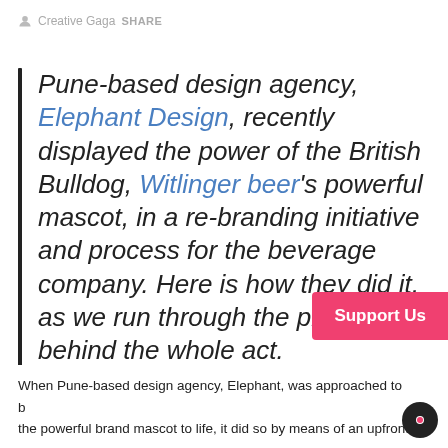Creative Gaga  SHARE
Pune-based design agency, Elephant Design, recently displayed the power of the British Bulldog, Witlinger beer's powerful mascot, in a re-branding initiative and process for the beverage company. Here is how they did it, as we run through the process behind the whole act.
When Pune-based design agency, Elephant, was approached to bring the powerful brand mascot to life, it did so by means of an upfront,